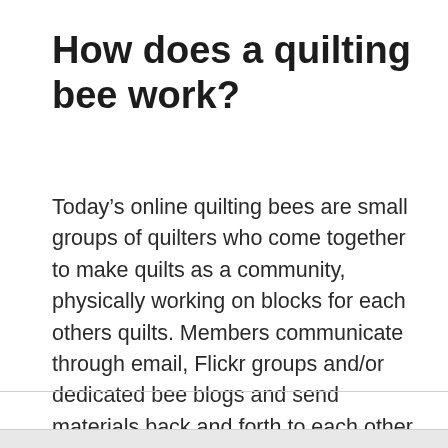How does a quilting bee work?
Today's online quilting bees are small groups of quilters who come together to make quilts as a community, physically working on blocks for each others quilts. Members communicate through email, Flickr groups and/or dedicated bee blogs and send materials back and forth to each other through the mail.
Handicrafts